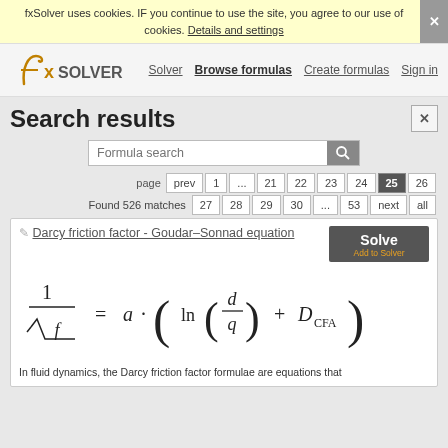fxSolver uses cookies. IF you continue to use the site, you agree to our use of cookies. Details and settings
fxSolver | Solver | Browse Formulas | Create Formulas | Sign in
Search results
Formula search
page  prev  1  ...  21  22  23  24  25  26  27  28  29  30  ...  53  next  all
Found 526 matches
Darcy friction factor - Goudar–Sonnad equation
In fluid dynamics, the Darcy friction factor formulae are equations that